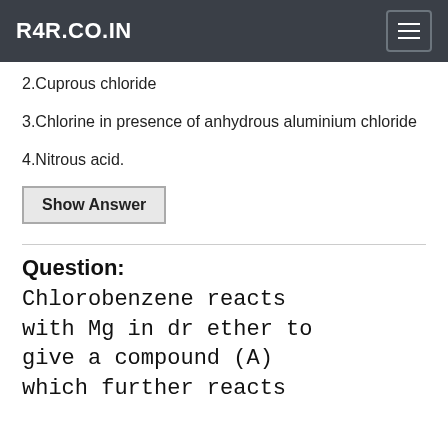R4R.CO.IN
2.Cuprous chloride
3.Chlorine in presence of anhydrous aluminium chloride
4.Nitrous acid.
Show Answer
Question:
Chlorobenzene reacts with Mg in dr ether to give a compound (A) which further reacts